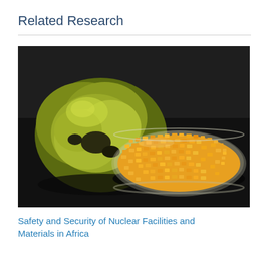Related Research
[Figure (photo): Photograph of a yellowish-green uranium ore rock beside a glass petri dish filled with bright orange-yellow granules (yellowcake uranium), set against a dark background.]
Safety and Security of Nuclear Facilities and Materials in Africa